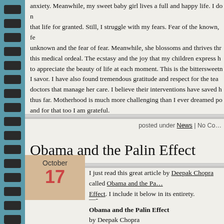anxiety. Meanwhile, my sweet baby girl lives a full and happy life. I do not take that life for granted. Still, I struggle with my fears. Fear of the known, fear of the unknown and the fear of fear. Meanwhile, she blossoms and thrives throughout this medical ordeal. The ecstasy and the joy that my children express help me to appreciate the beauty of life at each moment. This is the bittersweet elixir I savor. I have also found tremendous gratitude and respect for the team of doctors that manage her care. I believe their interventions have saved her life thus far. Motherhood is much more challenging than I ever dreamed possible, and for that too I am grateful.
posted under News | No Co…
Obama and the Palin Effect
I just read this great article by Deepak Chopra called Obama and the Palin Effect. I include it below in its entirety.
—-
Obama and the Palin Effect
by Deepak Chopra
Sometimes politics has the uncanny effect of mirroring the national psyc…